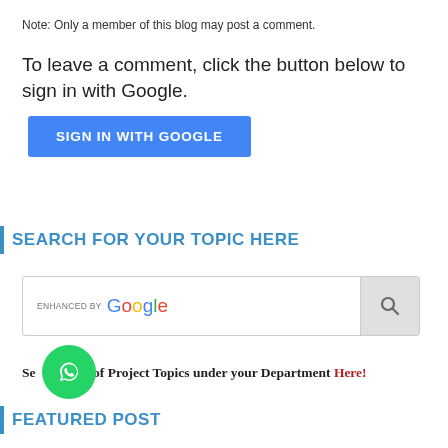Note: Only a member of this blog may post a comment.
To leave a comment, click the button below to sign in with Google.
[Figure (screenshot): Blue 'SIGN IN WITH GOOGLE' button]
SEARCH FOR YOUR TOPIC HERE
[Figure (screenshot): Enhanced by Google search box with search button]
See list of Project Topics under your Department Here!
[Figure (logo): WhatsApp circular green button with phone icon]
FEATURED POST